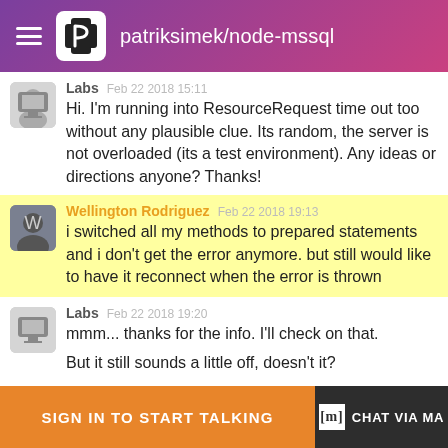patriksimek/node-mssql
Labs  Feb 22 2018 15:11
Hi. I'm running into ResourceRequest time out too without any plausible clue. Its random, the server is not overloaded (its a test environment). Any ideas or directions anyone? Thanks!
Wellington Rodriguez  Feb 22 2018 19:13
i switched all my methods to prepared statements and i don't get the error anymore. but still would like to have it reconnect when the error is thrown
Labs  Feb 22 2018 19:20
mmm... thanks for the info. I'll check on that.

But it still sounds a little off, doesn't it?
Jason Luhoff  Feb 22 2018 19:25
SIGN IN TO START TALKING    [m] CHAT VIA MA